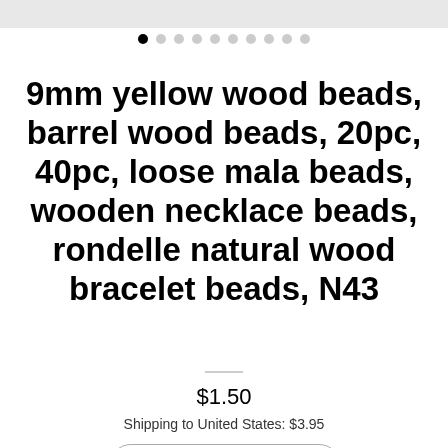[Figure (photo): Partial product image at top of page, cropped]
9mm yellow wood beads, barrel wood beads, 20pc, 40pc, loose mala beads, wooden necklace beads, rondelle natural wood bracelet beads, N43
$1.50
Shipping to United States: $3.95
How many pieces?